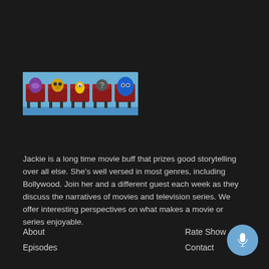[Figure (illustration): Cartoon pixel-art style image of animated characters sitting in red cinema/theater seats against a blue background. Characters include a purple horse, a yellow bird-like creature, a small yellow character, a question mark figure, and a blue creature.]
Jackie is a long time movie buff that prizes good storytelling over all else. She's well versed in most genres, including Bollywood. Join her and a different guest each week as they discuss the narratives of movies and television series. We offer interesting perspectives on what makes a movie or series enjoyable.
About
Episodes
Rate Show
Contact